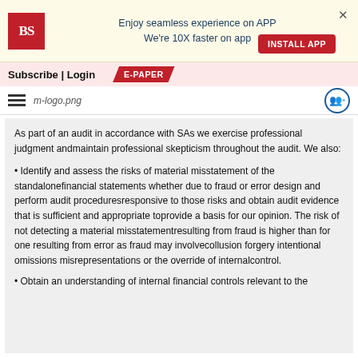[Figure (logo): Business Standard app install banner with BS logo, 'Enjoy seamless experience on APP We're 10X faster on app' text, INSTALL APP button, and close X]
Subscribe | Login   E-PAPER
m-logo.png navigation bar with hamburger menu and share icon
As part of an audit in accordance with SAs we exercise professional judgment andmaintain professional skepticism throughout the audit. We also:
• Identify and assess the risks of material misstatement of the standalonefinancial statements whether due to fraud or error design and perform audit proceduresresponsive to those risks and obtain audit evidence that is sufficient and appropriate toprovide a basis for our opinion. The risk of not detecting a material misstatementresulting from fraud is higher than for one resulting from error as fraud may involvecollusion forgery intentional omissions misrepresentations or the override of internalcontrol.
• Obtain an understanding of internal financial controls relevant to the